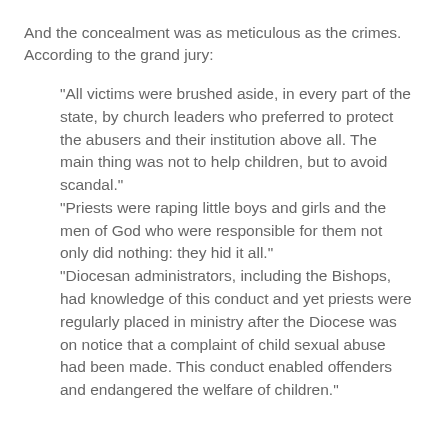And the concealment was as meticulous as the crimes. According to the grand jury:
"All victims were brushed aside, in every part of the state, by church leaders who preferred to protect the abusers and their institution above all. The main thing was not to help children, but to avoid scandal." "Priests were raping little boys and girls and the men of God who were responsible for them not only did nothing: they hid it all." "Diocesan administrators, including the Bishops, had knowledge of this conduct and yet priests were regularly placed in ministry after the Diocese was on notice that a complaint of child sexual abuse had been made. This conduct enabled offenders and endangered the welfare of children."